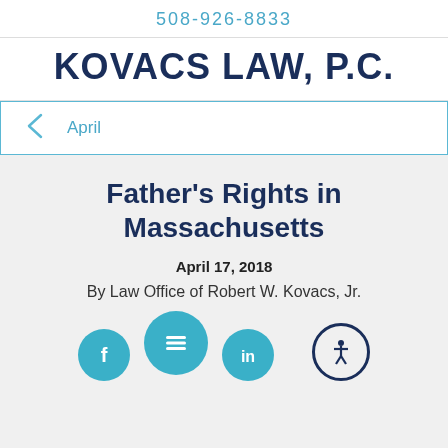508-926-8833
KOVACS LAW, P.C.
April
Father's Rights in Massachusetts
April 17, 2018
By Law Office of Robert W. Kovacs, Jr.
[Figure (infographic): Social media icons: Facebook, menu/hamburger, LinkedIn, and an accessibility icon on the right]